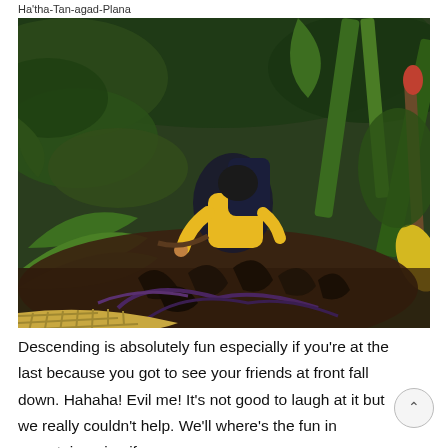Ha'tha-Tan-agad-Plana
[Figure (photo): A person in a yellow jacket and dark backpack navigating through dense tropical jungle vegetation with large ferns, roots and lush green plants. Foreground shows woven bamboo. The hiker is bending forward pushing through thick undergrowth.]
Descending is absolutely fun especially if you're at the last because you got to see your friends at front fall down. Hahaha! Evil me! It's not good to laugh at it but we really couldn't help. We'll where's the fun in mountaineering if